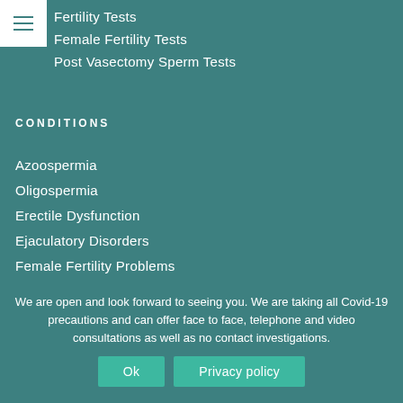[Figure (other): Hamburger menu icon — three horizontal white lines on white square background]
Fertility Tests
Female Fertility Tests
Post Vasectomy Sperm Tests
CONDITIONS
Azoospermia
Oligospermia
Erectile Dysfunction
Ejaculatory Disorders
Female Fertility Problems
We are open and look forward to seeing you. We are taking all Covid-19 precautions and can offer face to face, telephone and video consultations as well as no contact investigations.
Ok
Privacy policy